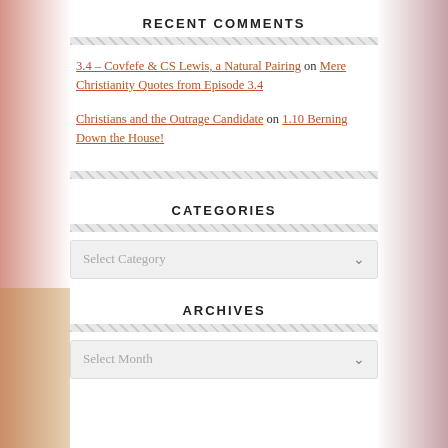RECENT COMMENTS
3.4 – Covfefe & CS Lewis, a Natural Pairing on Mere Christianity Quotes from Episode 3.4
Christians and the Outrage Candidate on 1.10 Berning Down the House!
CATEGORIES
Select Category
ARCHIVES
Select Month